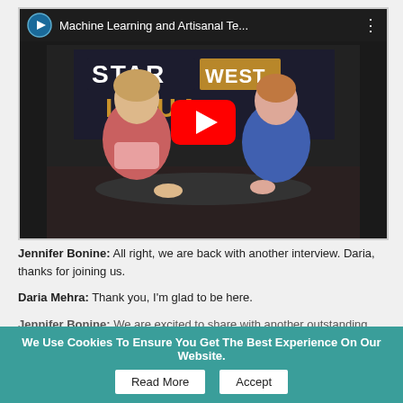[Figure (screenshot): YouTube video thumbnail showing two women sitting at a table in front of a STAR WEST VIRTUAL event banner. One woman wearing a pink jacket, the other in a blue sequined top. A red YouTube play button overlay is visible. Video toolbar at top shows: play icon, title 'Machine Learning and Artisanal Te...', and a three-dot menu.]
Jennifer Bonine: All right, we are back with another interview. Daria, thanks for joining us.
Daria Mehra: Thank you, I'm glad to be here.
Jennifer Bonine: We are excited to share with you...
We Use Cookies To Ensure You Get The Best Experience On Our Website.
Read More
Accept